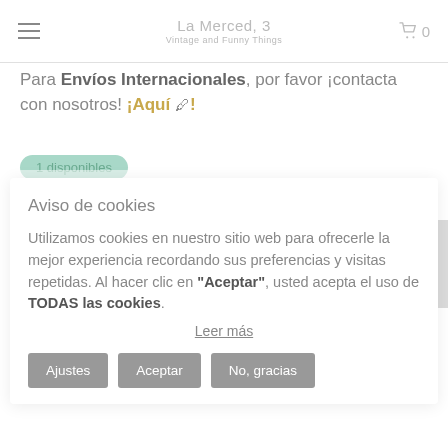La Merced, 3 Vintage and Funny Things
Para Envíos Internacionales, por favor ¡contacta con nosotros! ¡Aquí 🖊!
1 disponibles
Aviso de cookies
Utilizamos cookies en nuestro sitio web para ofrecerle la mejor experiencia recordando sus preferencias y visitas repetidas. Al hacer clic en "Aceptar", usted acepta el uso de TODAS las cookies.
Leer más
Ajustes
Aceptar
No, gracias